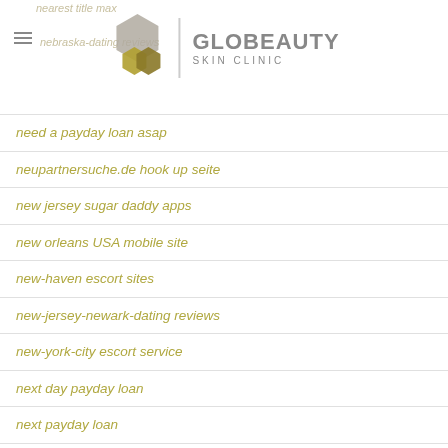nearest title max / nebraska-dating reviews / GLOBEAUTY SKIN CLINIC
need a payday loan asap
neupartnersuche.de hook up seite
new jersey sugar daddy apps
new orleans USA mobile site
new-haven escort sites
new-jersey-newark-dating reviews
new-york-city escort service
next day payday loan
next payday loan
Niche Dating apps for iphone
niche dating login